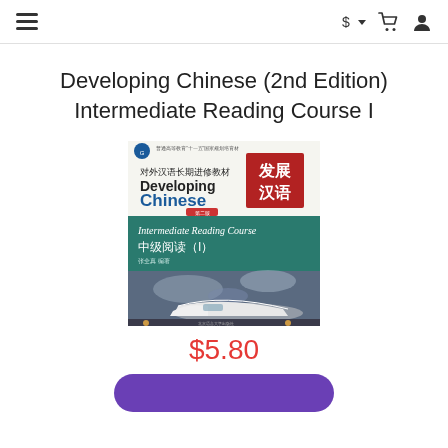menu | $ cart user
Developing Chinese (2nd Edition) Intermediate Reading Course I
[Figure (photo): Book cover of 'Developing Chinese (2nd Edition) Intermediate Reading Course I' featuring a high-speed train against a dramatic sky. The cover shows Chinese characters 发展汉语 in a red box, English text 'Developing Chinese', and subtitle 'Intermediate Reading Course / 中级阅读（I）'.]
$5.80
[Figure (other): Purple rounded button (Add to cart or similar action button)]